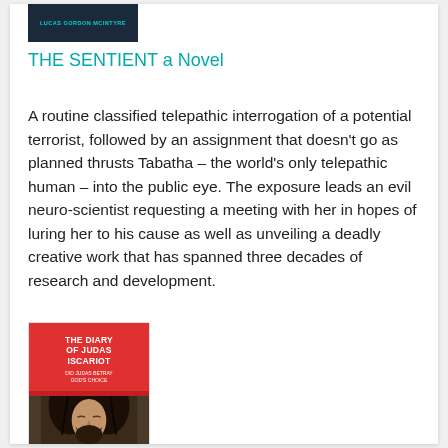[Figure (illustration): Top portion of a book cover with dark teal/navy background and text 'LUCAS GORDON MCINTYRE' in teal letters]
THE SENTIENT a Novel
A routine classified telepathic interrogation of a potential terrorist, followed by an assignment that doesn't go as planned thrusts Tabatha – the world's only telepathic human – into the public eye. The exposure leads an evil neuro-scientist requesting a meeting with her in hopes of luring her to his cause as well as unveiling a deadly creative work that has spanned three decades of research and development.
[Figure (illustration): Book cover for 'THE DIARY OF JUDAS ISCARIOT' with red top section showing title text and subtitle, and bottom section showing a dark-haired bearded man's face]